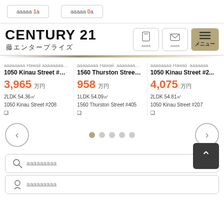aaaaa 1a / aaaaa 0a
CENTURY 21
藤エンタープライズ
aaaaaaaHawaiiaaaaaaaaaaaaa... | 1050 Kinau Street #208 | 3,965 万円 | 2LDK 54.36㎡ | 1050 Kinau Street #208
aaaaaaaHawaiiaaaaaaaaaa... | 1560 Thurston Street ... | 958 万円 | 1LDK 54.09㎡ | 1560 Thurston Street #405
aaaaaaaHawaiiaaaaaaa... | 1050 Kinau Street #2... | 4,075 万円 | 2LDK 54.81㎡ | 1050 Kinau Street #207
aaaaaaaaa
aaaaaaaaa